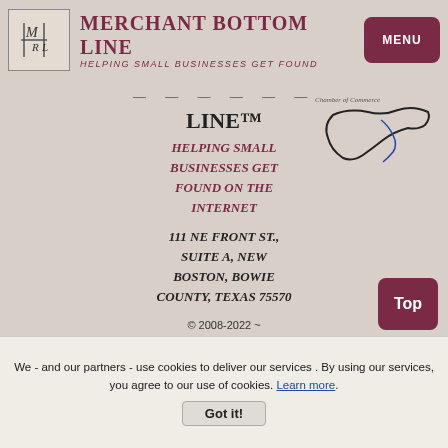MERCHANT BOTTOM LINE — HELPING SMALL BUSINESSES GET FOUND
[Figure (logo): MBL logo with stylized letters and crosshatch mark]
[Figure (map): Chamber of Commerce map of Texas with river outline]
LINE™
HELPING SMALL BUSINESSES GET FOUND ON THE INTERNET
111 NE FRONT ST., SUITE A, NEW BOSTON, BOWIE COUNTY, TEXAS 75570
© 2008-2022 ~ MERCHANTBOTTOML ~ ALL RIGHTS RESERVED~
We - and our partners - use cookies to deliver our services . By using our services, you agree to our use of cookies. Learn more.
Got it!